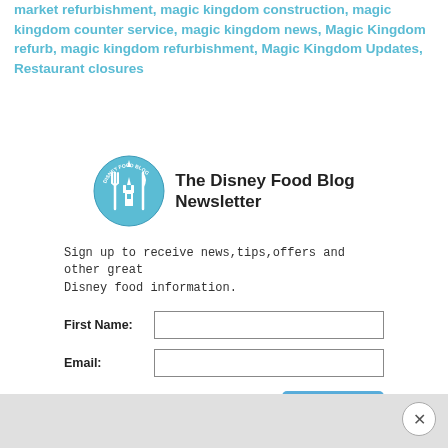market refurbishment, magic kingdom construction, magic kingdom counter service, magic kingdom news, Magic Kingdom refurb, magic kingdom refurbishment, Magic Kingdom Updates, Restaurant closures
[Figure (logo): The Disney Food Blog Newsletter logo — circular blue badge with fork, knife, and Cinderella castle silhouette icons]
Sign up to receive news,tips,offers and other great Disney food information.
First Name: [input field]
Email: [input field]
Subscribe